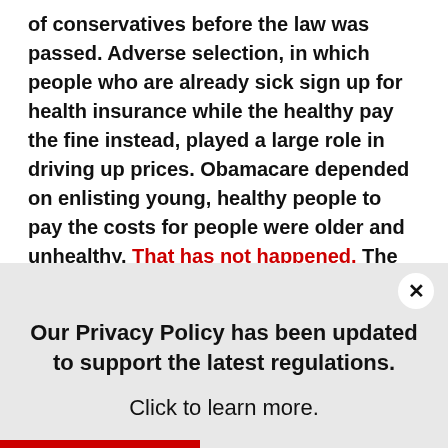of conservatives before the law was passed. Adverse selection, in which people who are already sick sign up for health insurance while the healthy pay the fine instead, played a large role in driving up prices. Obamacare depended on enlisting young, healthy people to pay the costs for people were older and unhealthy. That has not happened. The problem is so bad that many health insurance companies are choosing to leave the market completely, rather than continue to absorb losses.
As prices increase, companies are passing more costs along to their employees or dropping health insurance coverage altogether. If you still have an employer health insurance plan,
Our Privacy Policy has been updated to support the latest regulations. Click to learn more.